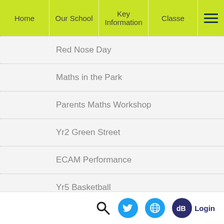Home | Our School | Key Information | Classes
Red Nose Day
Maths in the Park
Parents Maths Workshop
Yr2 Green Street
ECAM Performance
Yr5 Basketball
Yr5 IMAX Theater
'EKO trust - Pupil Voice Project (Knowledge and Power of Words)
Christmas
Search | Twitter | Globe | dB Login